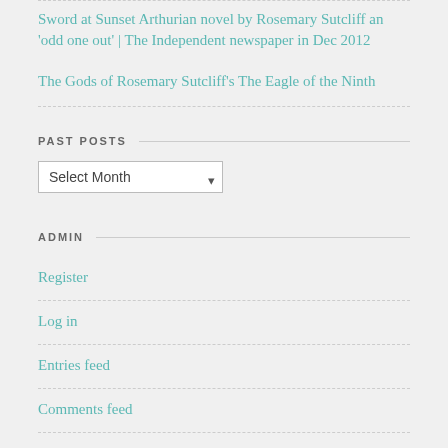Sword at Sunset Arthurian novel by Rosemary Sutcliff an 'odd one out' | The Independent newspaper in Dec 2012
The Gods of Rosemary Sutcliff's The Eagle of the Ninth
PAST POSTS
Select Month
ADMIN
Register
Log in
Entries feed
Comments feed